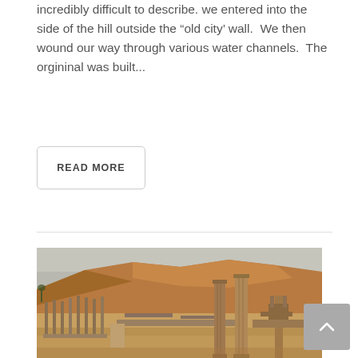incredibly difficult to describe. we entered into the side of the hill outside the “old city’ wall.  We then wound our way through various water channels.  The orgininal was built...
READ MORE
[Figure (photo): Photograph of ancient Roman ruins with tall stone columns in the foreground, extensive archaeological remains in the middle ground, and a dry desert hill in the background under a hazy sky.]